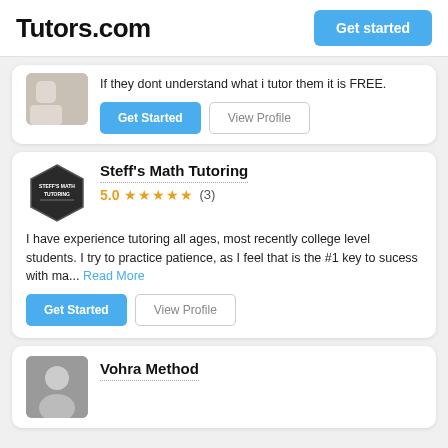Tutors.com  Get started
If they dont understand what i tutor them it is FREE.
Get Started  View Profile
Steff's Math Tutoring
5.0 ★★★★★ (3)
I have experience tutoring all ages, most recently college level students. I try to practice patience, as I feel that is the #1 key to sucess with ma... Read More
Get Started  View Profile
Vohra Method